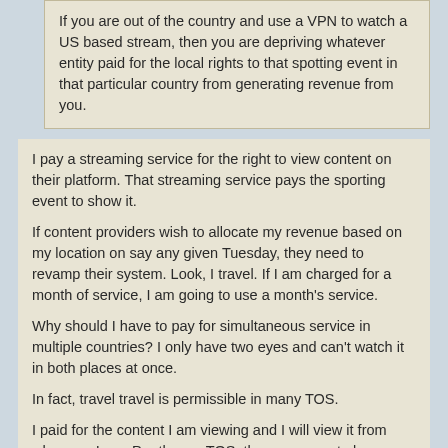If you are out of the country and use a VPN to watch a US based stream, then you are depriving whatever entity paid for the local rights to that spotting event in that particular country from generating revenue from you.
I pay a streaming service for the right to view content on their platform. That streaming service pays the sporting event to show it.
If content providers wish to allocate my revenue based on my location on say any given Tuesday, they need to revamp their system. Look, I travel. If I am charged for a month of service, I am going to use a month's service.
Why should I have to pay for simultaneous service in multiple countries? I only have two eyes and can't watch it in both places at once.
In fact, travel travel is permissible in many TOS.
I paid for the content I am viewing and I will view it from wherever I am. Per the my TOS, there appears to be nothing wrong with my usage and I'd politely ask you kindly refrain from labeling me a law breaker. People who steal, kill, harm children, and deal drugs